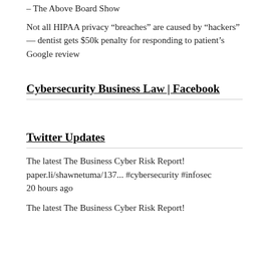– The Above Board Show
Not all HIPAA privacy “breaches” are caused by “hackers” — dentist gets $50k penalty for responding to patient’s Google review
Cybersecurity Business Law | Facebook
Twitter Updates
The latest The Business Cyber Risk Report! paper.li/shawnetuma/137... #cybersecurity #infosec
20 hours ago
The latest The Business Cyber Risk Report!